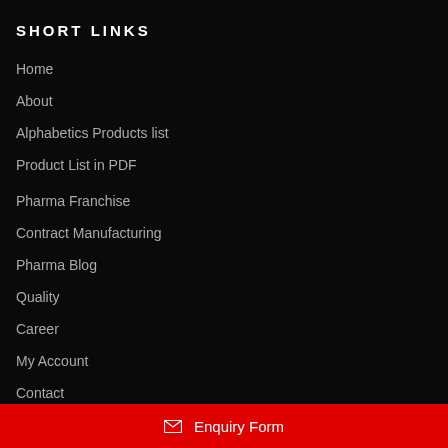SHORT LINKS
Home
About
Alphabetics Products list
Product List in PDF
Pharma Franchise
Contract Manufacturing
Pharma Blog
Quality
Career
My Account
Contact
✉ Enquiry Form